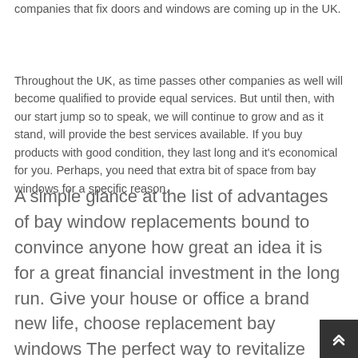companies that fix doors and windows are coming up in the UK.
Throughout the UK, as time passes other companies as well will become qualified to provide equal services. But until then, with our start jump so to speak, we will continue to grow and as it stand, will provide the best services available. If you buy products with good condition, they last long and it's economical for you. Perhaps, you need that extra bit of space from bay windows for a specific reason.
A simple glance at the list of advantages of bay window replacements bound to convince anyone how great an idea it is for a great financial investment in the long run. Give your house or office a brand new life, choose replacement bay windows The perfect way to revitalize your home is with the replacement bay windows right for you.